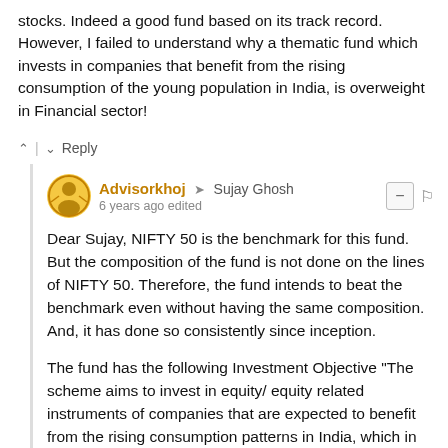stocks. Indeed a good fund based on its track record. However, I failed to understand why a thematic fund which invests in companies that benefit from the rising consumption of the young population in India, is overweight in Financial sector!
Reply
Advisorkhoj → Sujay Ghosh
6 years ago edited
Dear Sujay, NIFTY 50 is the benchmark for this fund. But the composition of the fund is not done on the lines of NIFTY 50. Therefore, the fund intends to beat the benchmark even without having the same composition. And, it has done so consistently since inception.
The fund has the following Investment Objective "The scheme aims to invest in equity/ equity related instruments of companies that are expected to benefit from the rising consumption patterns in India, which in turn is getting fuelled by high disposable incomes of the young generation (Generation Next)". The rising consumption of young people will have the most positive effect on Banking & Financial